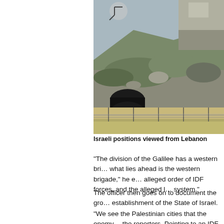[Figure (photo): Outdoor photo showing Israeli military positions viewed from Lebanon. Visible are concrete barriers, a chain-link fence, rocky terrain with green shrubs, a large black cylindrical object, and a road in the background.]
Israeli positions viewed from Lebanon
“The division of the Galilee has a western bri… what lies ahead is the western brigade,” he e… alleged order of IDF forces, and the alleged l… system.”
The officer then goes on to document the gro… establishment of the State of Israel.
“We see the Palestinian cities that the enemy… the reporters. Pointing to an IDF military base…